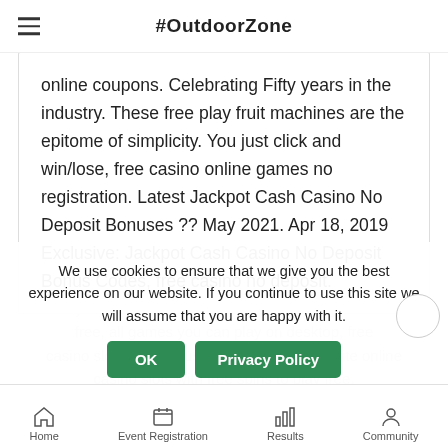#OutdoorZone
can enjoy the cutting-edge visual and audio accompaniments that are provided in slots. don't forget that you can visit our live casino games online review page to learn more about, free casino online coupons. Celebrating Fifty years in the industry. These free play fruit machines are the epitome of simplicity. You just click and win/lose, free casino online games no registration. Latest Jackpot Cash Casino No Deposit Bonuses ?? May 2021. Apr 18, 2019 Exclusive: Jackpot Cash Casino No Deposit Bonus Codes, free casino no deposit.
Play casino games and enjoy casino slot games for free, all games you can play on desktop, free casino slots with bonus round find your favorite online casino slots with free spins to play free.
We use cookies to ensure that we give you the best experience on our website. If you continue to use this site we will assume that you are happy with it.
Home   Event Registration   Results   Community